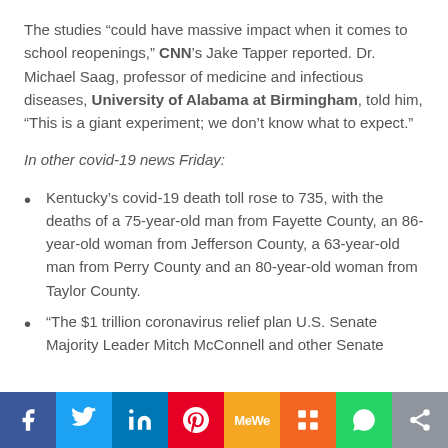The studies “could have massive impact when it comes to school reopenings,” CNN’s Jake Tapper reported. Dr. Michael Saag, professor of medicine and infectious diseases, University of Alabama at Birmingham, told him, “This is a giant experiment; we don’t know what to expect.”
In other covid-19 news Friday:
Kentucky’s covid-19 death toll rose to 735, with the deaths of a 75-year-old man from Fayette County, an 86-year-old woman from Jefferson County, a 63-year-old man from Perry County and an 80-year-old woman from Taylor County.
“The $1 trillion coronavirus relief plan U.S. Senate Majority Leader Mitch McConnell and other Senate
[Figure (other): Social media share buttons bar: Facebook (blue), Twitter (light blue), LinkedIn (dark blue), Pinterest (red), MeWe (orange/yellow), Mix (orange), WhatsApp (green), Share (gray)]